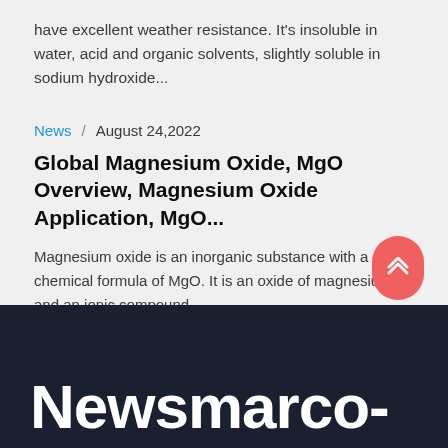have excellent weather resistance. It's insoluble in water, acid and organic solvents, slightly soluble in sodium hydroxide...
News / August 24,2022
Global Magnesium Oxide, MgO Overview, Magnesium Oxide Application, MgO...
Magnesium oxide is an inorganic substance with a chemical formula of MgO. It is an oxide of magnesium and an ionic compound....
Newsmarco-